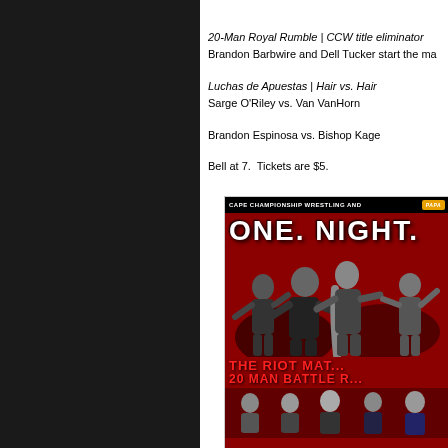20-Man Royal Rumble | CCW title eliminator
Brandon Barbwire and Dell Tucker start the ma...
Luchas de Apuestas | Hair vs. Hair
Sarge O'Riley vs. Van VanHorn
Brandon Espinosa vs. Bishop Kage
Bell at 7.  Tickets are $5.
[Figure (photo): Cape Championship Wrestling event poster showing wrestlers and text ONE NIGHT... THE RIOT MATCH 20 MAN BATTLE R... on red and black background]